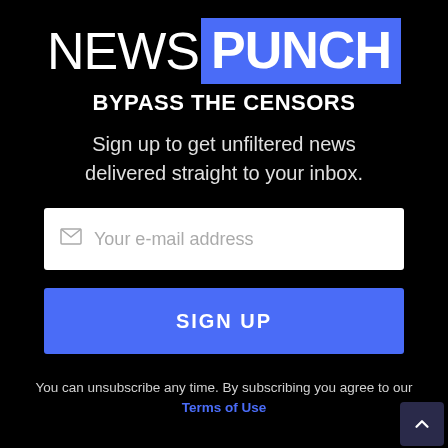[Figure (logo): NewsPunch logo: 'NEWS' in white thin font followed by 'PUNCH' in white bold text on blue rectangle background]
BYPASS THE CENSORS
Sign up to get unfiltered news delivered straight to your inbox.
[Figure (other): Email input field with envelope icon and placeholder text 'Your e-mail address']
[Figure (other): Blue SIGN UP button]
You can unsubscribe any time. By subscribing you agree to our Terms of Use